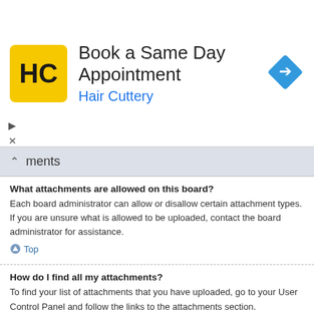[Figure (infographic): Hair Cuttery advertisement banner: HC logo on yellow background, heading 'Book a Same Day Appointment', subheading 'Hair Cuttery', blue diamond arrow icon on right]
ments
What attachments are allowed on this board?
Each board administrator can allow or disallow certain attachment types. If you are unsure what is allowed to be uploaded, contact the board administrator for assistance.
Top
How do I find all my attachments?
To find your list of attachments that you have uploaded, go to your User Control Panel and follow the links to the attachments section.
Top
phpBB Issues
Who wrote this bulletin board?
This software (in its unmodified form) is produced, released and is copyright phpBB Limited. It is made available under the GNU General Public License,